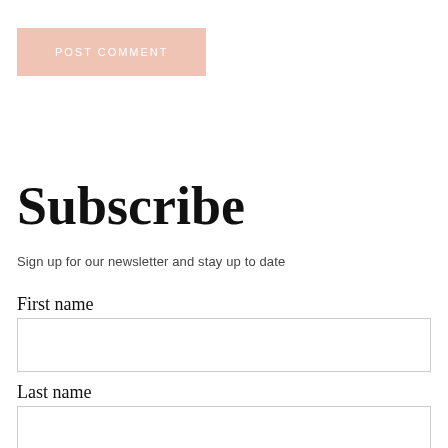POST COMMENT
Subscribe
Sign up for our newsletter and stay up to date
First name
Last name